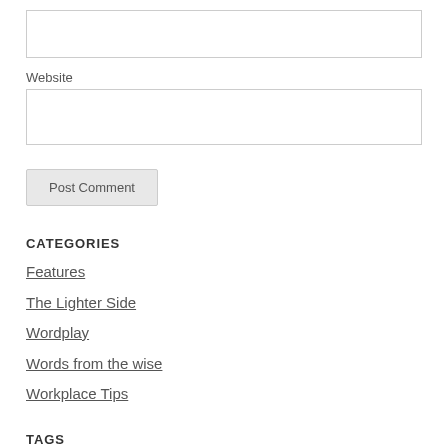(input box — top)
Website
(input box — website)
Post Comment
CATEGORIES
Features
The Lighter Side
Wordplay
Words from the wise
Workplace Tips
TAGS